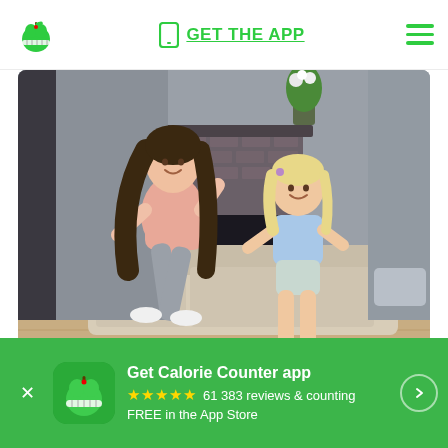GET THE APP
[Figure (photo): A mother and young daughter dancing and playing together in a living room with a fireplace and couch in the background. The mother wears a pink top and gray leggings; the daughter wears a light blue shirt and shorts.]
Here's how to stay motivated with your
Get Calorie Counter app
★★★★★  61 383 reviews & counting
FREE in the App Store